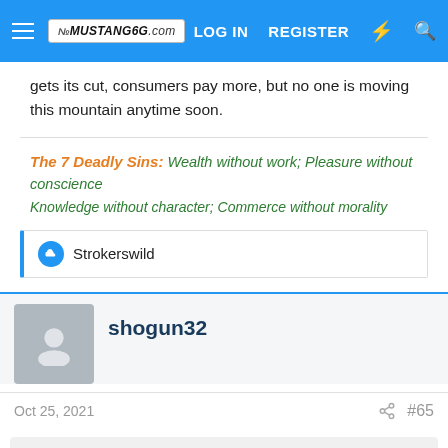MUSTANG6G.COM — LOG IN | REGISTER
gets its cut, consumers pay more, but no one is moving this mountain anytime soon.
The 7 Deadly Sins: Wealth without work; Pleasure without conscience Knowledge without character; Commerce without morality
Strokerswild
shogun32
Oct 25, 2021   #65
Biggus Dickus said: ↑  Freight charges out of So Cal are up 250-300% compared to